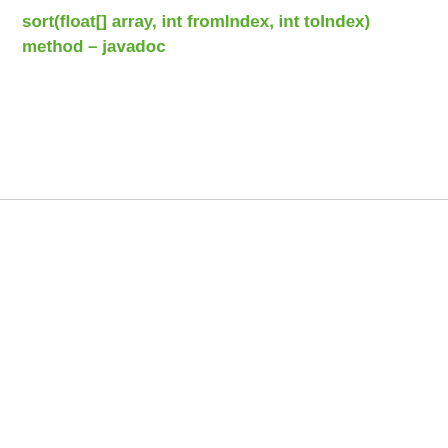sort(float[] array, int fromIndex, int toIndex) method – javadoc